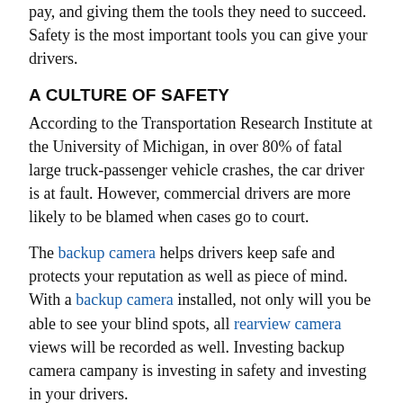pay, and giving them the tools they need to succeed. Safety is the most important tools you can give your drivers.
A CULTURE OF SAFETY
According to the Transportation Research Institute at the University of Michigan, in over 80% of fatal large truck-passenger vehicle crashes, the car driver is at fault. However, commercial drivers are more likely to be blamed when cases go to court.
The backup camera helps drivers keep safe and protects your reputation as well as piece of mind. With a backup camera installed, not only will you be able to see your blind spots, all rearview camera views will be recorded as well. Investing backup camera campany is investing in safety and investing in your drivers.
Conduct driver training on this important safety rearview camera technology and be specific about safety benefits, how you this can also enable it to stay with the driving Safety